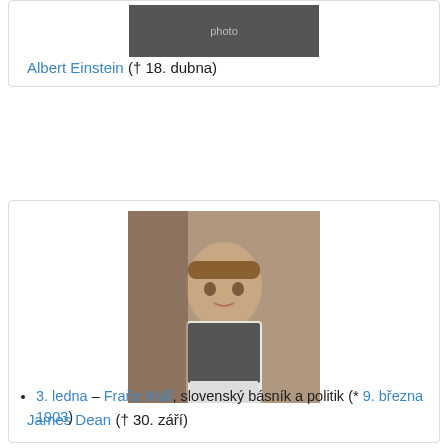[Figure (photo): Black and white photo of Albert Einstein (partial, top of card)]
Albert Einstein († 18. dubna)
[Figure (photo): Color photo of James Dean looking over his shoulder]
James Dean († 30. září)
3. ledna – Fraňo Kráľ, slovenský básník a politik (* 9. března 1903)
9. ledna – Petar Pecija Petrović, chorvatský spisovatel (* 21. srpna 1877)